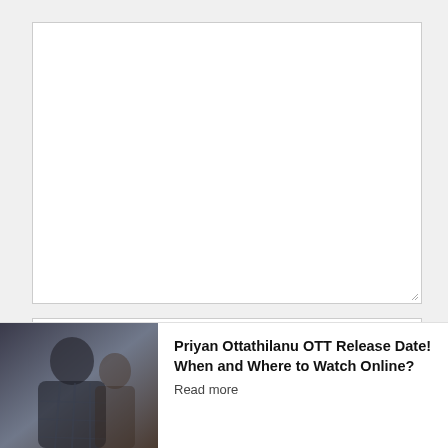[Figure (screenshot): Large empty textarea input field with a resize handle in the bottom-right corner]
Name *
Email *
[Figure (photo): Photo of a man in a dark checked shirt, used as thumbnail for an article]
Priyan Ottathilanu OTT Release Date! When and Where to Watch Online?
Read more